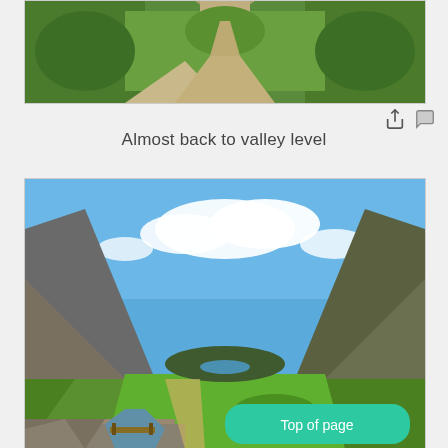[Figure (photo): Overhead view of a rocky mountain path winding through lush green hillsides, taken from a high vantage point looking down the trail.]
Almost back to valley level
[Figure (photo): Panoramic view of a green highland valley with rocky mountains on both sides, a river or stream visible in the foreground with a small wooden bridge, a lake visible in the distance under a blue sky with white clouds.]